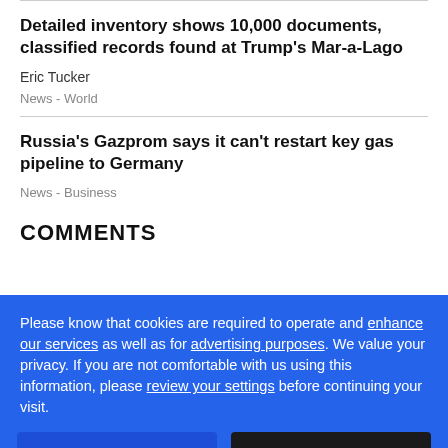Detailed inventory shows 10,000 documents, classified records found at Trump's Mar-a-Lago
Eric Tucker
News  -  World
Russia's Gazprom says it can't restart key gas pipeline to Germany
News  -  Business
COMMENTS
Please know that cookies are required to operate and enhance our services as well as for advertising purposes. We value your privacy. If you are not comfortable with us using this information, please review your settings before continuing your visit.